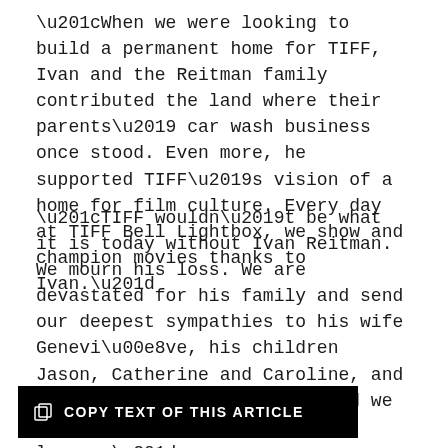“When we were looking to build a permanent home for TIFF, Ivan and the Reitman family contributed the land where their parents’ car wash business once stood. Even more, he supported TIFF’s vision of a home for film culture. Every day at TIFF Bell Lightbox, we show and champion movies thanks to Ivan.”
“TIFF wouldn’t be what it is today without Ivan Reitman. We mourn his loss. We are devastated for his family and send our deepest sympathies to his wife Geneviève, his children Jason, Catherine and Caroline, and his sisters Agi and Susan. And we celebrate his remarkable legacy.”
COPY TEXT OF THIS ARTICLE